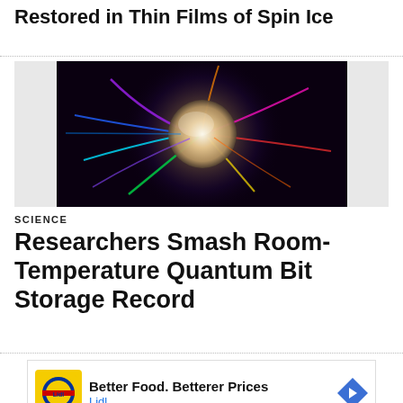Restored in Thin Films of Spin Ice
[Figure (photo): Abstract glowing orb with colorful swirling streaks of light on a dark background, representing quantum/physics concept]
SCIENCE
Researchers Smash Room-Temperature Quantum Bit Storage Record
[Figure (other): Advertisement: Better Food. Betterer Prices - Lidl, with Lidl logo and navigation arrow icon]